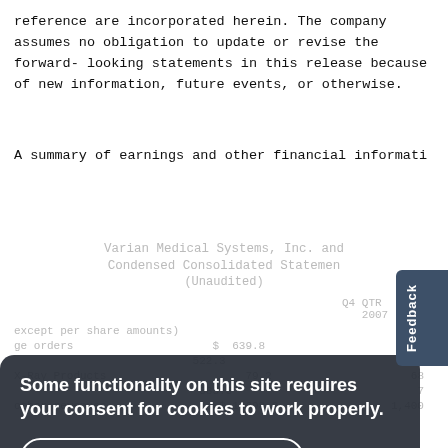reference are incorporated herein. The company assumes no obligation to update or revise the forward- looking statements in this release because of new information, future events, or otherwise.
A summary of earnings and other financial informati
Varian Medical Systems, Inc. and Condensed Consolidated Statemen (Unaudited)
|  | Q4 QTR | Q4 Q |
| --- | --- | --- |
| except per share amounts) | 2007 | 200 |
| ge orders | $ 639.8 | 545 |
|  | 522.3 | 469 |
| X-Ray Products | 79.2 | 68 |
|  | 383.3 | 7 |
| other revenues | $ 1,698.9 | 1,400 |
Some functionality on this site requires your consent for cookies to work properly.
I consent to cookies
I want more information